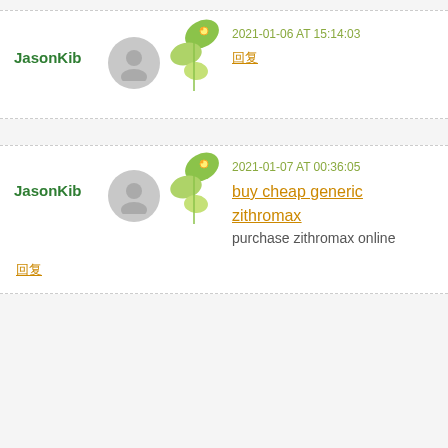JasonKib — 2021-01-06 AT 15:14:03 — [CJK link characters]
JasonKib — 2021-01-07 AT 00:36:05 — buy cheap generic zithromax — purchase zithromax online
[CJK reply link]